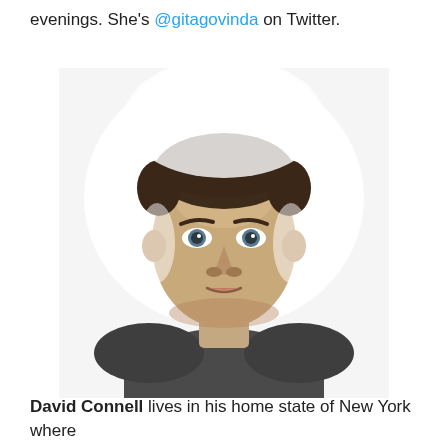evenings. She's @gitagovinda on Twitter.
[Figure (photo): Headshot of a young man with short hair wearing a dark grey t-shirt, photographed against a bright white background with soft lighting]
David Connell lives in his home state of New York where